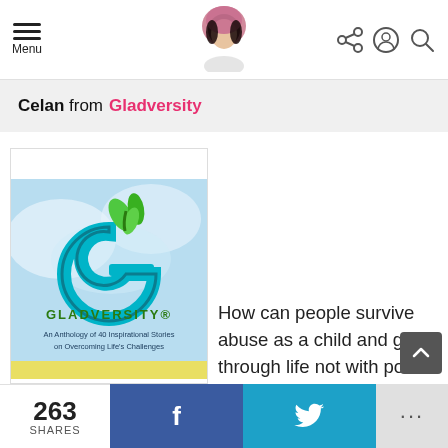Menu | [avatar icon] | [share icon] [account icon] [search icon]
Celan from Gladversity
[Figure (illustration): Book cover for 'Gladversity: An Anthology of 40 Inspirational Stories on Overcoming Life's Challenges' showing a teal G logo with green leaves on a blue watercolor background]
How can people survive abuse as a child and go through life not with post-traumatic stress disorder, but with post-traumatic growth? This
263 SHARES | f | [Twitter bird] | ...